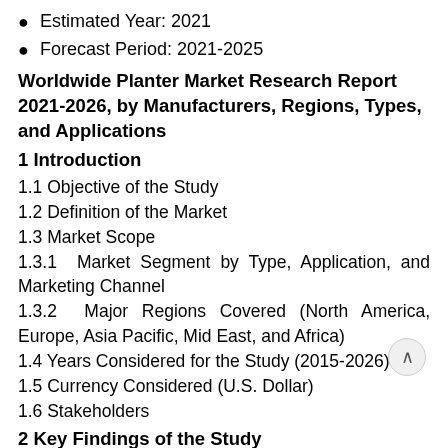Estimated Year: 2021
Forecast Period: 2021-2025
Worldwide Planter Market Research Report 2021-2026, by Manufacturers, Regions, Types, and Applications
1 Introduction
1.1 Objective of the Study
1.2 Definition of the Market
1.3 Market Scope
1.3.1 Market Segment by Type, Application, and Marketing Channel
1.3.2 Major Regions Covered (North America, Europe, Asia Pacific, Mid East, and Africa)
1.4 Years Considered for the Study (2015-2026)
1.5 Currency Considered (U.S. Dollar)
1.6 Stakeholders
2 Key Findings of the Study
3 Market Dynamics
3.1 Driving Factors for this Market
3.2 Factors Challenging the Market